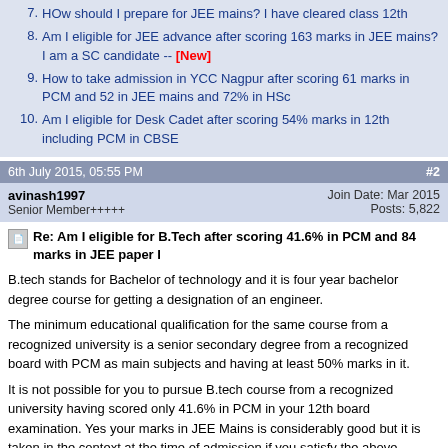7. HOw should I prepare for JEE mains? I have cleared class 12th
8. Am I eligible for JEE advance after scoring 163 marks in JEE mains? I am a SC candidate -- [New]
9. How to take admission in YCC Nagpur after scoring 61 marks in PCM and 52 in JEE mains and 72% in HSc
10. Am I eligible for Desk Cadet after scoring 54% marks in 12th including PCM in CBSE
6th July 2015, 05:55 PM   #2
avinash1997
Senior Member+++++
Join Date: Mar 2015
Posts: 5,822
Re: Am I eligible for B.Tech after scoring 41.6% in PCM and 84 marks in JEE paper I
B.tech stands for Bachelor of technology and it is four year bachelor degree course for getting a designation of an engineer.
The minimum educational qualification for the same course from a recognized university is a senior secondary degree from a recognized board with PCM as main subjects and having at least 50% marks in it.
It is not possible for you to pursue B.tech course from a recognized university having scored only 41.6% in PCM in your 12th board examination. Yes your marks in JEE Mains is considerably good but it is taken in the context at the time of admission if you satisfy the above educational qualification.